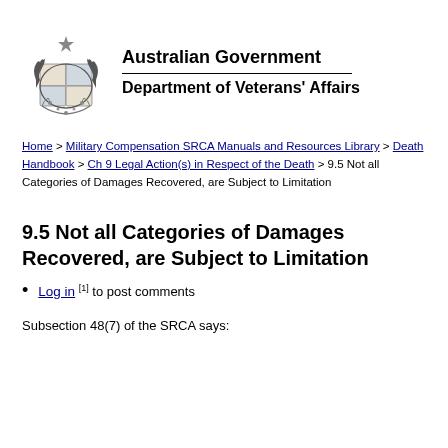[Figure (logo): Australian Government coat of arms logo with kangaroo and emu]
Australian Government
Department of Veterans' Affairs
Home > Military Compensation SRCA Manuals and Resources Library > Death Handbook > Ch 9 Legal Action(s) in Respect of the Death > 9.5 Not all Categories of Damages Recovered, are Subject to Limitation
9.5 Not all Categories of Damages Recovered, are Subject to Limitation
Log in [1] to post comments
Subsection 48(7) of the SRCA says: